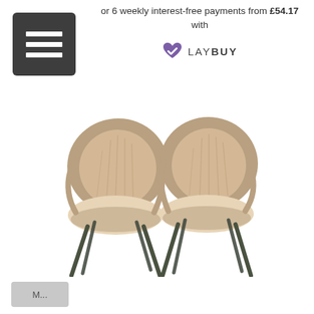or 6 weekly interest-free payments from £54.17 with
[Figure (logo): Laybuy logo with purple heart/checkmark icon and LAYBUY text]
[Figure (photo): Two beige/taupe upholstered dining chairs with dark metal legs, shown side by side on white background]
M...